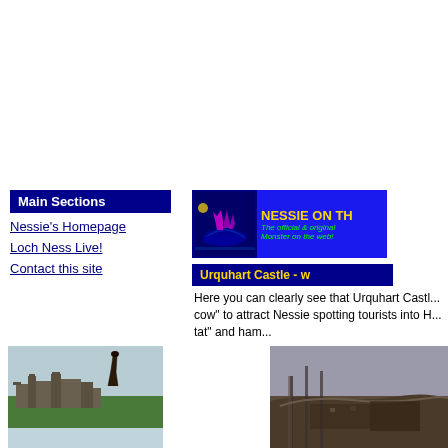[Figure (photo): Nessie on the Net banner - blue background with lake monster graphic, yellow text 'NESSIE ON TH', green italic text 'The official & original Monster on the web!']
Main Sections
Nessie's Homepage
Loch Ness Live!
Contact this site
Urquhart Castle - w
Here you can clearly see that Urquhart Castl... cow" to attract Nessie spotting tourists into H... tat" and ham...
[Figure (photo): Photo of Urquhart Castle ruins with a Nessie model/sculpture in foreground, green grass]
[Figure (photo): Photo of mountainous landscape near Loch Ness]
[Figure (photo): Photo of Urquhart Castle from a different angle, dark rocky ruins]